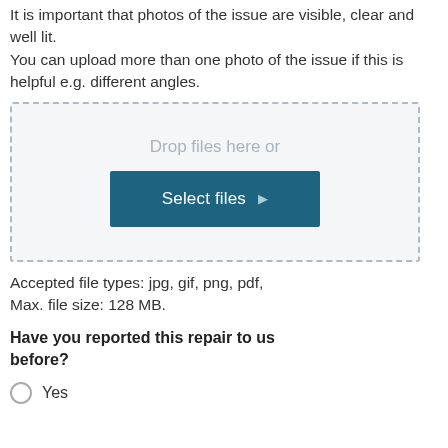It is important that photos of the issue are visible, clear and well lit.
You can upload more than one photo of the issue if this is helpful e.g. different angles.
[Figure (screenshot): File upload widget with dashed border, 'Drop files here or' placeholder text, and a teal 'Select files ▶' button]
Accepted file types: jpg, gif, png, pdf, Max. file size: 128 MB.
Have you reported this repair to us before?
Yes